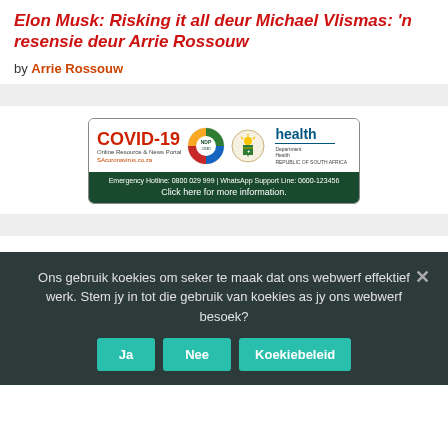Elon Musk: Risking it all deur Michael Vlismas: 'n resensie deur Arrie Rossouw
by Arrie Rossouw
[Figure (infographic): COVID-19 Online Resource & News Portal SAcoronavirus.co.za banner with NDP 2030 logo and South Africa Department of Health coat of arms. Emergency Hotline: 0800 029 999 | WhatsApp Support Line: 0600-123456. Click here for more information.]
Ons gebruik koekies om seker te maak dat ons webwerf effektief werk. Stem jy in tot die gebruik van koekies as jy ons webwerf besoek?